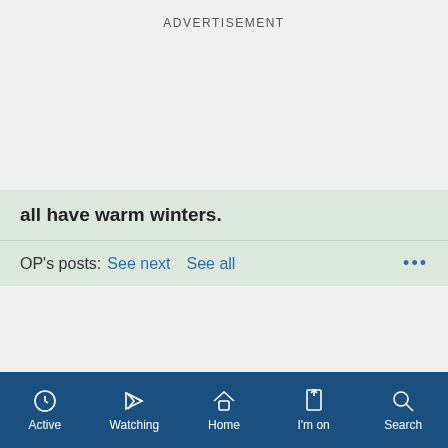ADVERTISEMENT
all have warm winters.
OP's posts:  See next  See all  •••
ADVERTISEMENT
Active  Watching  Home  I'm on  Search